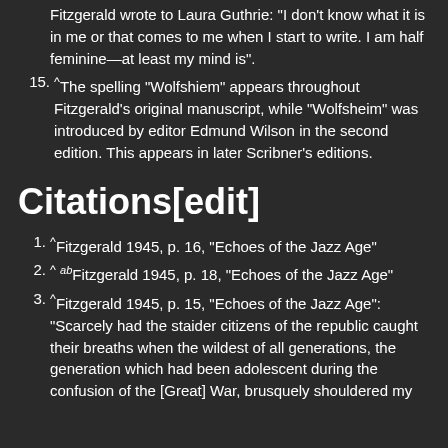continuation: Fitzgerald wrote to Laura Guthrie: "I don't know what it is in me or that comes to me when I start to write. I am half feminine—at least my mind is".
15. ^The spelling "Wolfshiem" appears throughout Fitzgerald's original manuscript, while "Wolfsheim" was introduced by editor Edmund Wilson in the second edition. This appears in later Scribner's editions.
Citations[edit]
1. ^Fitzgerald 1945, p. 16, "Echoes of the Jazz Age"
2. ^ abFitzgerald 1945, p. 18, "Echoes of the Jazz Age"
3. ^Fitzgerald 1945, p. 15, "Echoes of the Jazz Age": "Scarcely had the staider citizens of the republic caught their breaths when the wildest of all generations, the generation which had been adolescent during the confusion of the [Great] War, brusquely shouldered my